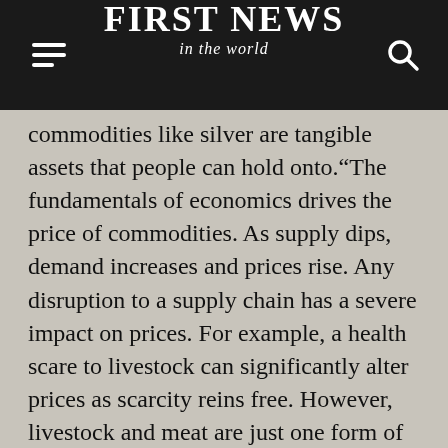FIRST NEWS in the world
commodities like silver are tangible assets that people can hold onto.“The fundamentals of economics drives the price of commodities. As supply dips, demand increases and prices rise. Any disruption to a supply chain has a severe impact on prices. For example, a health scare to livestock can significantly alter prices as scarcity reins free. However, livestock and meat are just one form of commodities.Metals, energy and agriculture are other types of commodities. To invest, you can use an exchange like the London Metal Exchange or the Chicago Mercantile Exchange, as well as many others. Often, investing in commodities means investing in futures contracts. Effectively, that’s a pre-arranged agreement to buy a specific quantity at a specific price in the future. These are